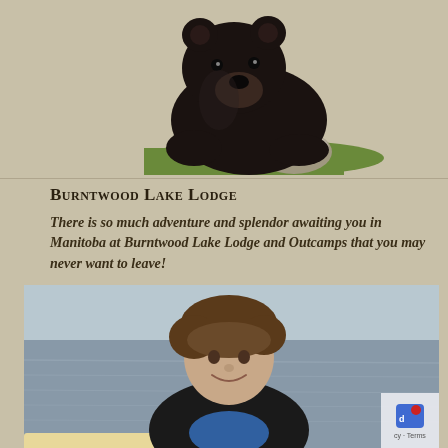[Figure (photo): Black bear resting on grass next to a rock, photographed from the front]
Burntwood Lake Lodge
There is so much adventure and splendor awaiting you in Manitoba at Burntwood Lake Lodge and Outcamps that you may never want to leave!
[Figure (infographic): Green rounded-rectangle BOOK NOW button]
[Figure (photo): Young teenage boy smiling at the camera, wearing a black hoodie with blue shirt, standing near a lake or waterway. A partial watermark/logo appears in the bottom right corner with text 'cy · Terms'.]